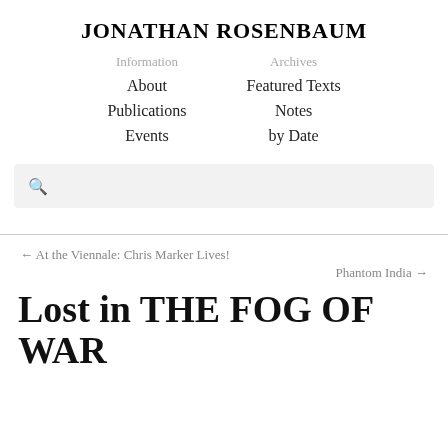JONATHAN ROSENBAUM
Information   Archives
About   Featured Texts
Publications   Notes
Events   by Date
[Figure (other): Search bar with magnifying glass icon]
← At the Viennale: Chris Marker Lives!
Phantom India →
Lost in THE FOG OF WAR